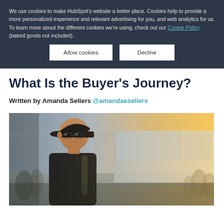We use cookies to make HubSpot's website a better place. Cookies help to provide a more personalized experience and relevant advertising for you, and web analytics for us. To learn more about the different cookies we're using, check out our Cookie Policy (baked goods not included).
Allow cookies | Decline
What Is the Buyer's Journey?
Written by Amanda Sellers @amandaesellers
[Figure (photo): A young Asian man with glasses and a backwards cap, wearing a backpack, standing at what appears to be a busy transit station or subway platform. Blurred crowd and train in the background with warm lighting on the right side.]